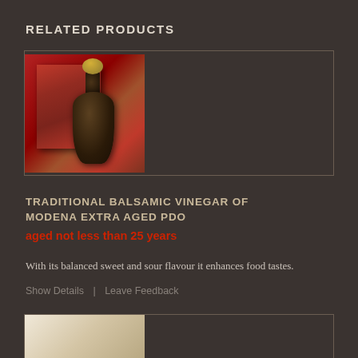RELATED PRODUCTS
[Figure (photo): Product image showing a red box labeled 'Aceto Balsamico di Modena' and a small dark round bottle of traditional balsamic vinegar with gold cap]
TRADITIONAL BALSAMIC VINEGAR OF MODENA EXTRA AGED PDO
aged not less than 25 years
With its balanced sweet and sour flavour it enhances food tastes.
Show Details  |  Leave Feedback
[Figure (photo): Partial view of a second product image, appears to show wooden or light-colored product packaging]